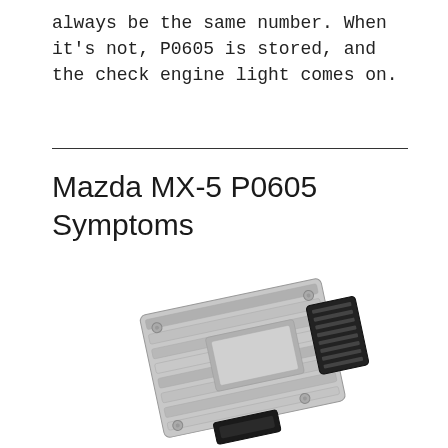always be the same number. When it's not, P0605 is stored, and the check engine light comes on.
Mazda MX-5 P0605 Symptoms
[Figure (photo): Photograph of an automotive ECU (Engine Control Unit) module — a silver aluminum rectangular unit with ribbed heat-sink top and a black multi-pin connector on the right side.]